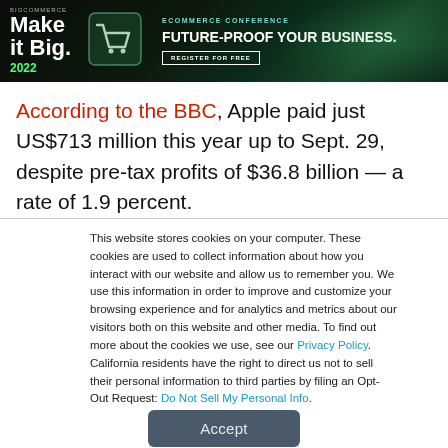[Figure (screenshot): BigCommerce 'Make it Big 2022' Ecommerce Conference banner advertisement with shopping cart icon, tagline 'Future-Proof Your Business.' and a 'Register for Free' button on dark green/black background.]
According to the BBC, Apple paid just US$713 million this year up to Sept. 29, despite pre-tax profits of $36.8 billion — a rate of 1.9 percent.
This website stores cookies on your computer. These cookies are used to collect information about how you interact with our website and allow us to remember you. We use this information in order to improve and customize your browsing experience and for analytics and metrics about our visitors both on this website and other media. To find out more about the cookies we use, see our Privacy Policy. California residents have the right to direct us not to sell their personal information to third parties by filing an Opt-Out Request: Do Not Sell My Personal Info.